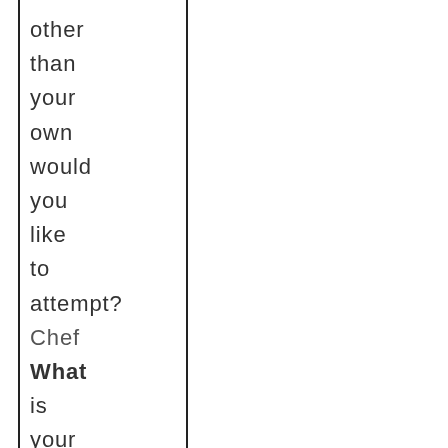other than your own would you like to attempt? Chef What is your favorite quality